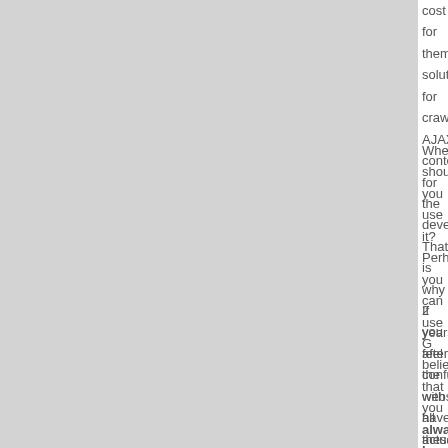cost for them solution for crawling AJAX content for the developers. That is why 2 years after the websites have actually implemented properly. M scheme and by using it you risk losing the traffi
When should you use it? Perhaps you can use G believe that you always have the choice of not Engines. If I had to use AJAX, I would go for the engines.
If you feel confused with all these, I strongly reco money-making landing pages. If you have quest but not least don't forget to share this article if yo
[Figure (illustration): Green banner with tools (screwdriver, wrench, etc.) and text 'TRY THE WS']
Leave a Reply
You must be logged in to post a comment.
« Previous